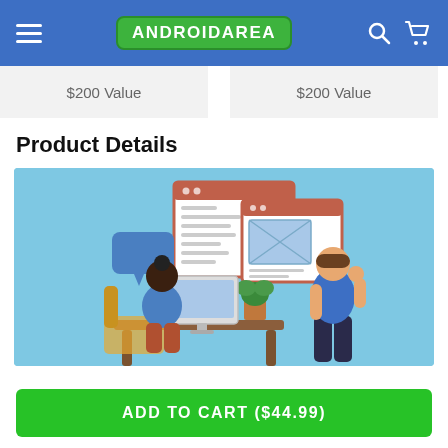ANDROIDAREA
$200 Value   $200 Value
Product Details
[Figure (illustration): Flat vector illustration of two people working on web/UI design. A woman sits at a desktop computer at a desk with a plant nearby, while a man stands pointing at floating UI windows/screens in the background. Light blue background.]
ADD TO CART ($44.99)